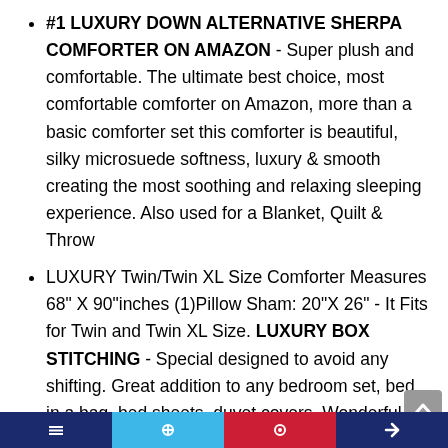#1 LUXURY DOWN ALTERNATIVE SHERPA COMFORTER ON AMAZON - Super plush and comfortable. The ultimate best choice, most comfortable comforter on Amazon, more than a basic comforter set this comforter is beautiful, silky microsuede softness, luxury & smooth creating the most soothing and relaxing sleeping experience. Also used for a Blanket, Quilt & Throw
LUXURY Twin/Twin XL Size Comforter Measures 68" X 90"inches (1)Pillow Sham: 20"X 26" - It Fits for Twin and Twin XL Size. LUXURY BOX STITCHING - Special designed to avoid any shifting. Great addition to any bedroom set, bed in a bag, bed sheets, duvet covers. Wonderful birthday bedding gift idea for men, women, mom, dad, teens, girls, boys, or any loved one.